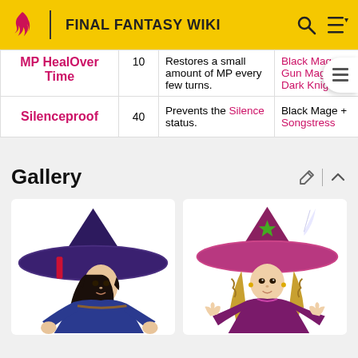FINAL FANTASY WIKI
| Ability | AP | Effect | Obtained |
| --- | --- | --- | --- |
| MP HealOver Time | 10 | Restores a small amount of MP every few turns. | Black Mage + Gun Mage + Dark Knight |
| Silenceproof | 40 | Prevents the Silence status. | Black Mage + Songstress |
Gallery
[Figure (illustration): Black Mage character art from Final Fantasy - female character with large purple witch hat]
[Figure (illustration): Black Mage character art from Final Fantasy - female character with pink/purple witch hat and braided hair]